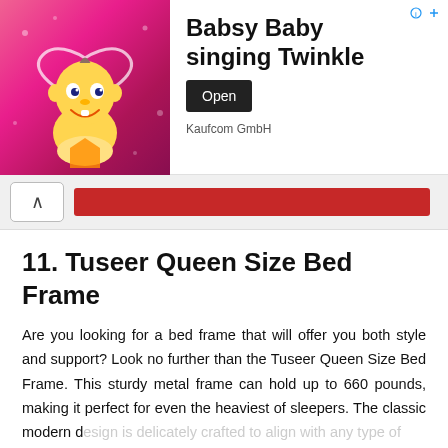[Figure (screenshot): Advertisement banner for 'Babsy Baby singing Twinkle' by Kaufcom GmbH, showing a cartoon baby character on pink background with an Open button.]
[Figure (screenshot): Browser navigation bar with back arrow button and a red address/search bar.]
11. Tuseer Queen Size Bed Frame
Are you looking for a bed frame that will offer you both style and support? Look no further than the Tuseer Queen Size Bed Frame. This sturdy metal frame can hold up to 660 pounds, making it perfect for even the heaviest of sleepers. The classic modern d... b... in minutes – no tools required. This sturdy and stylish be... will last you for years to come. The best metal bed frame ... of heavy-duty alloy steel. This frame is built to withstand the test of time. And with our worry-free five-year replacement warranty
[Figure (screenshot): Chat widget overlay showing 'Chat with RugKnots' and 'Hi! How can we help you?' with RugKnots logo and messenger icon.]